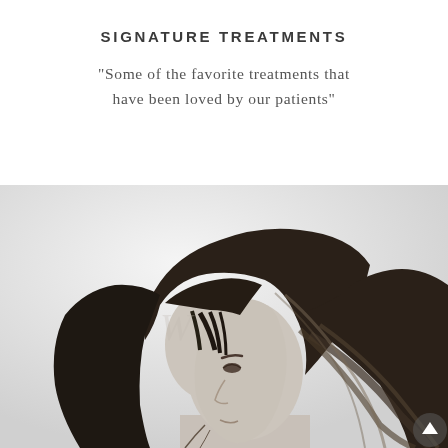SIGNATURE TREATMENTS
“Some of the favorite treatments that have been loved by our patients”
[Figure (photo): Black and white profile photo of a young woman with long dark hair and bangs, facing left, minimal background]